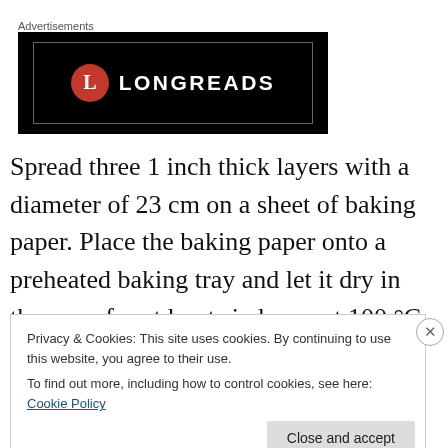Advertisements
[Figure (logo): Longreads advertisement banner — black background with red circle logo containing letter L and text LONGREADS in white]
Spread three 1 inch thick layers with a diameter of 23 cm on a sheet of baking paper. Place the baking paper onto a preheated baking tray and let it dry in the oven for at least six hours at 100 °C (or overnight at 80°C). Break or
Privacy & Cookies: This site uses cookies. By continuing to use this website, you agree to their use.
To find out more, including how to control cookies, see here: Cookie Policy